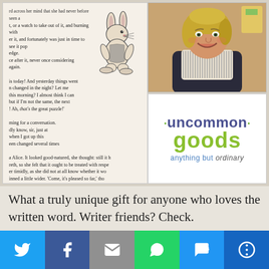[Figure (photo): Collage of three images: left - a tote bag printed with text from Alice in Wonderland featuring an illustration of a rabbit wearing clothing; top right - portrait photo of a smiling blonde woman wearing a book-text-print scarf; bottom right - UncommonGoods logo with text 'anything but ordinary']
What a truly unique gift for anyone who loves the written word. Writer friends? Check. Voracious reader? Check. Anyone who wants to
[Figure (infographic): Social sharing bottom bar with six buttons: Twitter (blue), Facebook (dark blue), Email/envelope (grey), WhatsApp (green), SMS (blue), More/share (dark blue)]